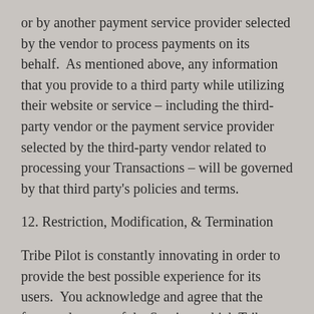or by another payment service provider selected by the vendor to process payments on its behalf.  As mentioned above, any information that you provide to a third party while utilizing their website or service – including the third-party vendor or the payment service provider selected by the third-party vendor related to processing your Transactions – will be governed by that third party's policies and terms.
12. Restriction, Modification, & Termination
Tribe Pilot is constantly innovating in order to provide the best possible experience for its users.  You acknowledge and agree that the form and nature of the Services which Tribe Pilot provides may change from time to time without prior notice to you, and is